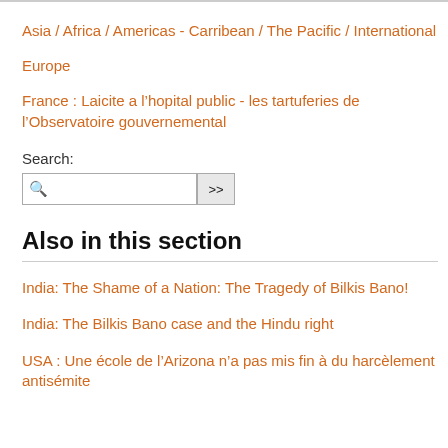Asia / Africa / Americas - Carribean / The Pacific / International
Europe
France : Laicite a l’hopital public - les tartuferies de l’Observatoire gouvernemental
Search:
Also in this section
India: The Shame of a Nation: The Tragedy of Bilkis Bano!
India: The Bilkis Bano case and the Hindu right
USA : Une école de l’Arizona n’a pas mis fin à du harcèlement antisémite